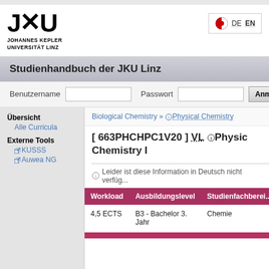[Figure (logo): JKU Johannes Kepler Universität Linz logo with stylized J K U letterforms]
Studienhandbuch der JKU Linz
Benutzername  Passwort  Anmelden
Übersicht
Alle Curricula
Externe Tools
KUSSS
Auwea NG
Biological Chemistry » Physical Chemistry
[ 663PHCHPC1V20 ] VL Physical Chemistry I
Leider ist diese Information in Deutsch nicht verfüg...
| Workload | Ausbildungslevel | Studienfachberei... |
| --- | --- | --- |
| 4,5 ECTS | B3 - Bachelor 3. Jahr | Chemie |